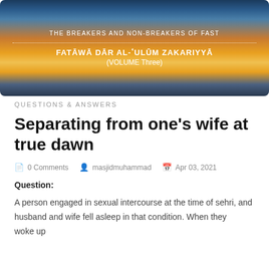[Figure (photo): Sunrise/sunset landscape banner image with golden light rays over clouds and dark silhouetted hills. Overlaid text reads: 'THE BREAKERS AND NON-BREAKERS OF FAST' with dotted line separator, then 'FATĀWĀ DĀR AL-ʿULŪM ZAKARIYYĀ' and '(VOLUME Three)']
QUESTIONS & ANSWERS
Separating from one's wife at true dawn
0 Comments   masjidmuhammad   Apr 03, 2021
Question:
A person engaged in sexual intercourse at the time of sehri, and husband and wife fell asleep in that condition. When they woke up